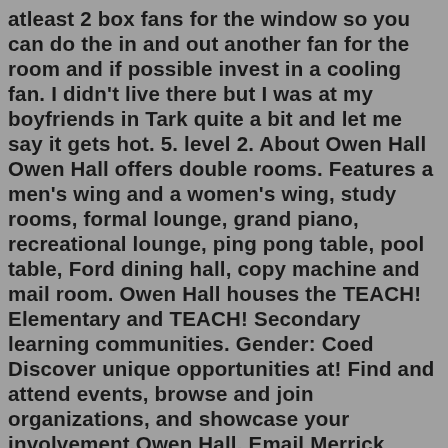atleast 2 box fans for the window so you can do the in and out another fan for the room and if possible invest in a cooling fan. I didn't live there but I was at my boyfriends in Tark quite a bit and let me say it gets hot. 5. level 2. About Owen Hall Owen Hall offers double rooms. Features a men's wing and a women's wing, study rooms, formal lounge, grand piano, recreational lounge, ping pong table, pool table, Ford dining hall, copy machine and mail room. Owen Hall houses the TEACH! Elementary and TEACH! Secondary learning communities. Gender: Coed Discover unique opportunities at! Find and attend events, browse and join organizations, and showcase your involvement.Owen Hall. Email Merrick Haller. Office Phone: 541-737-9141. Fax: 541-737-3052. Civil & Construction Engineering. Professor. ... (Geophysics), Purdue University, 1993. Research and Interests: Professor Haller's teaching interests include hydraulics, wave mechanics, and coastal engineering. He served as coordinator for the coastal and ocean